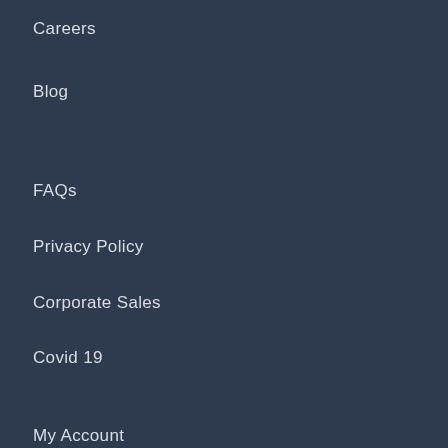Careers
Blog
FAQs
Privacy Policy
Corporate Sales
Covid 19
My Account
My Orders
Warranty & Repairs
Contact Us